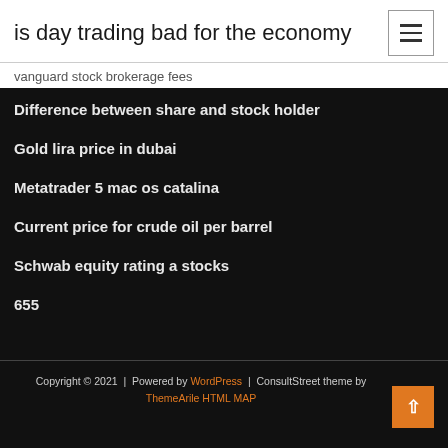is day trading bad for the economy
vanguard stock brokerage fees
Difference between share and stock holder
Gold lira price in dubai
Metatrader 5 mac os catalina
Current price for crude oil per barrel
Schwab equity rating a stocks
655
Copyright © 2021  |  Powered by WordPress  |  ConsultStreet theme by ThemeArile HTML MAP